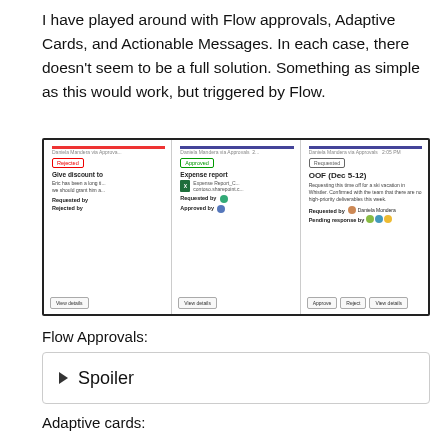I have played around with Flow approvals, Adaptive Cards, and Actionable Messages. In each case, there doesn't seem to be a full solution. Something as simple as this would work, but triggered by Flow.
[Figure (screenshot): Screenshot showing three approval email cards: one Rejected ('Give discount to...'), one Approved ('Expense report'), and one Requested ('OOF (Dec 5-12)') with Approve, Reject, and View details buttons. All from Daniela Mandera via Approvals.]
Flow Approvals:
▶ Spoiler
Adaptive cards: